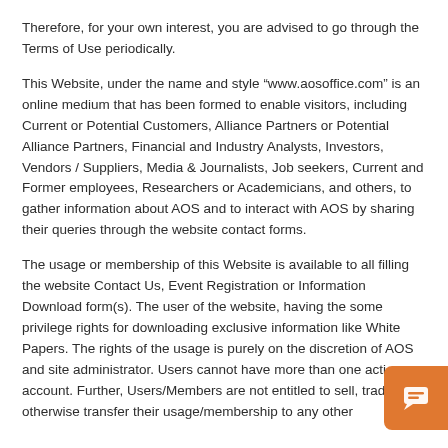Therefore, for your own interest, you are advised to go through the Terms of Use periodically.
This Website, under the name and style “www.aosoffice.com” is an online medium that has been formed to enable visitors, including Current or Potential Customers, Alliance Partners or Potential Alliance Partners, Financial and Industry Analysts, Investors, Vendors / Suppliers, Media & Journalists, Job seekers, Current and Former employees, Researchers or Academicians, and others, to gather information about AOS and to interact with AOS by sharing their queries through the website contact forms.
The usage or membership of this Website is available to all filling the website Contact Us, Event Registration or Information Download form(s). The user of the website, having the some privilege rights for downloading exclusive information like White Papers. The rights of the usage is purely on the discretion of AOS and site administrator. Users cannot have more than one active account. Further, Users/Members are not entitled to sell, trade otherwise transfer their usage/membership to any other